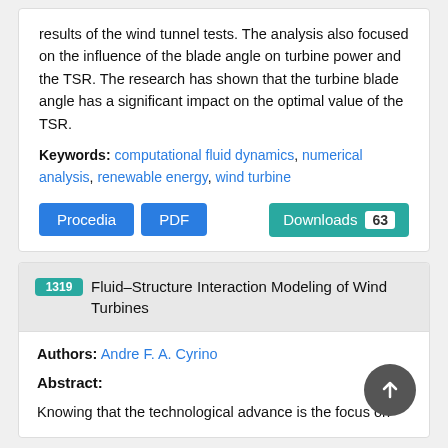results of the wind tunnel tests. The analysis also focused on the influence of the blade angle on turbine power and the TSR. The research has shown that the turbine blade angle has a significant impact on the optimal value of the TSR.
Keywords: computational fluid dynamics, numerical analysis, renewable energy, wind turbine
Procedia | PDF | Downloads 63
1319 Fluid–Structure Interaction Modeling of Wind Turbines
Authors: Andre F. A. Cyrino
Abstract:
Knowing that the technological advance is the focus on